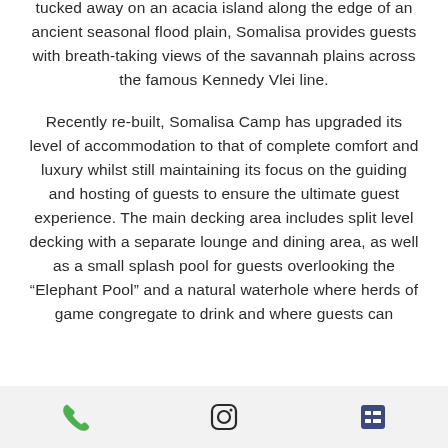tucked away on an acacia island along the edge of an ancient seasonal flood plain, Somalisa provides guests with breath-taking views of the savannah plains across the famous Kennedy Vlei line.
Recently re-built, Somalisa Camp has upgraded its level of accommodation to that of complete comfort and luxury whilst still maintaining its focus on the guiding and hosting of guests to ensure the ultimate guest experience. The main decking area includes split level decking with a separate lounge and dining area, as well as a small splash pool for guests overlooking the “Elephant Pool” and a natural waterhole where herds of game congregate to drink and where guests can
[Figure (other): Bottom navigation bar with phone icon (green), Instagram icon, and list/menu icon]